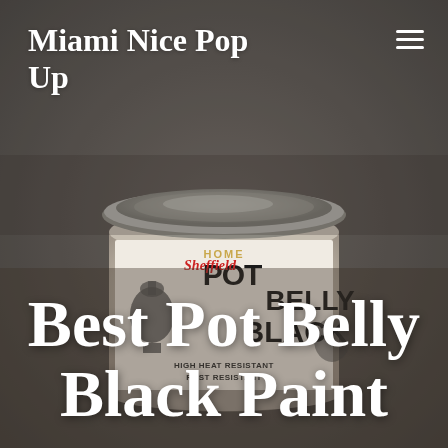Miami Nice Pop Up
[Figure (photo): A Sheffield brand Pot Belly Black paint can (high heat resistant, rust resistant) photographed against a dark grayish-brown background. The white cylindrical can has bold black text reading 'POT BELLY BLACK' with a red 'Sheffield' script logo and an illustration of a pot belly stove. The silver metal lid is visible at the top.]
HOME
Best Pot Belly Black Paint